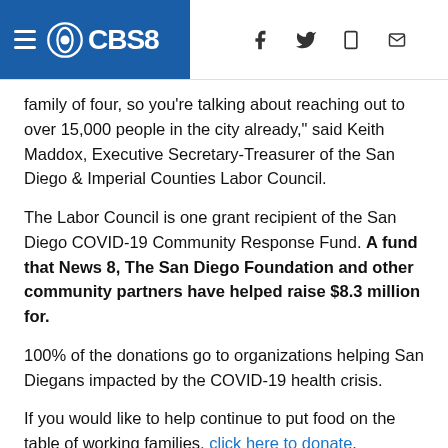CBS8
family of four, so you're talking about reaching out to over 15,000 people in the city already," said Keith Maddox, Executive Secretary-Treasurer of the San Diego & Imperial Counties Labor Council.
The Labor Council is one grant recipient of the San Diego COVID-19 Community Response Fund. A fund that News 8, The San Diego Foundation and other community partners have helped raise $8.3 million for.
100% of the donations go to organizations helping San Diegans impacted by the COVID-19 health crisis.
If you would like to help continue to put food on the table of working families, click here to donate.
----------------------------------------------------------------
RELATED: The power of community: San Diegans helping one another